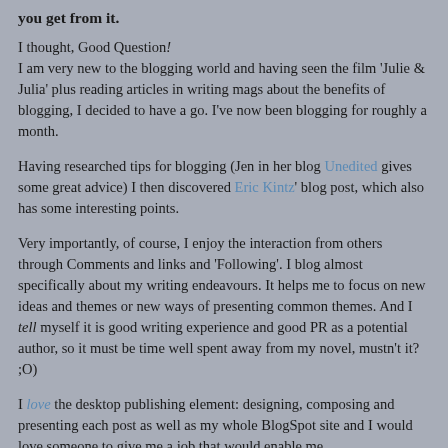you get from it.
I thought, Good Question!
I am very new to the blogging world and having seen the film 'Julie & Julia' plus reading articles in writing mags about the benefits of blogging, I decided to have a go. I've now been blogging for roughly a month.
Having researched tips for blogging (Jen in her blog Unedited gives some great advice) I then discovered Eric Kintz' blog post, which also has some interesting points.
Very importantly, of course, I enjoy the interaction from others through Comments and links and 'Following'. I blog almost specifically about my writing endeavours. It helps me to focus on new ideas and themes or new ways of presenting common themes. And I tell myself it is good writing experience and good PR as a potential author, so it must be time well spent away from my novel, mustn't it?  ;O)
I love the desktop publishing element: designing, composing and presenting each post as well as my whole BlogSpot site and I would love someone to give me a job that would enable me